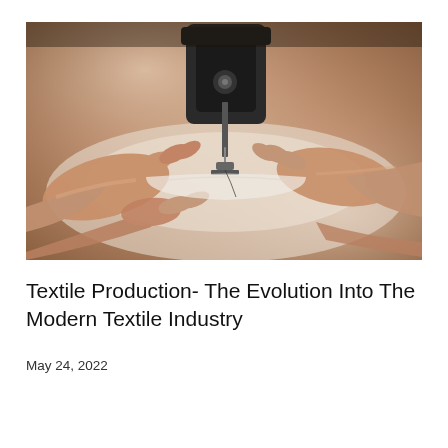[Figure (photo): Close-up photograph of hands guiding fabric under a sewing machine needle, showing textile production in action.]
Textile Production- The Evolution Into The Modern Textile Industry
May 24, 2022